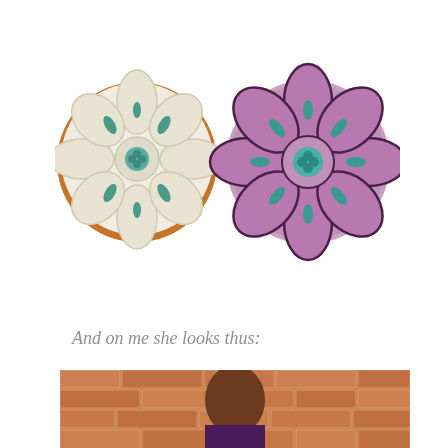[Figure (photo): Two circular embroidered cushions/beret hats side by side. Left one is cream/off-white fabric with a floral petal pattern and small teal embroidered leaf details, with a teal beaded center, on an orange base. Right one is purple/mauve fabric with a bold floral pattern outlined in dark purple, with teal beaded leaf accents and a teal beaded center.]
And on me she looks thus:
[Figure (photo): A woman with shoulder-length brown hair, wearing a dark purple top, looking downward. She is standing in front of a brick wall. She is wearing the purple floral beret on her head.]